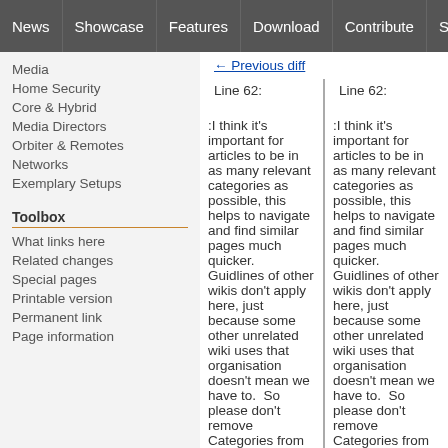News | Showcase | Features | Download | Contribute | Support
Media
Home Security
Core & Hybrid
Media Directors
Orbiter & Remotes
Networks
Exemplary Setups
Toolbox
What links here
Related changes
Special pages
Printable version
Permanent link
Page information
← Previous diff
Line 62:
Line 62:
:I think it's important for articles to be in as many relevant categories as possible, this helps to navigate and find similar pages much quicker.  Guidlines of other wikis don't apply here, just because some other unrelated wiki uses that organisation doesn't mean we have to.  So please don't remove Categories from
:I think it's important for articles to be in as many relevant categories as possible, this helps to navigate and find similar pages much quicker.  Guidlines of other wikis don't apply here, just because some other unrelated wiki uses that organisation doesn't mean we have to.  So please don't remove Categories from pages, they are